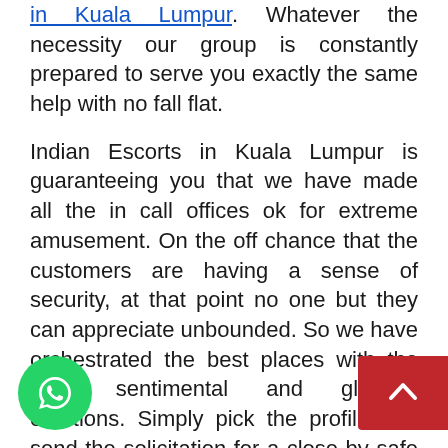in Kuala Lumpur. Whatever the necessity our group is constantly prepared to serve you exactly the same help with no fall flat.
Indian Escorts in Kuala Lumpur is guaranteeing you that we have made all the in call offices ok for extreme amusement. On the off chance that the customers are having a sense of security, at that point no one but they can appreciate unbounded. So we have orchestrated the best places with the most sentimental and glorious emotions. Simply pick the profile and send the solicitation for a close by safe in call office. Our group will return with whole data and administration subtleties. In call office is offered to the receptive customers are prepared to unveil their own data plete prerequisites. It is our obligati make you absolutely agreeable while playing